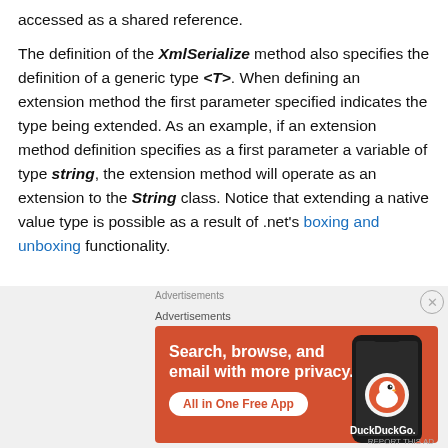accessed as a shared reference.
The definition of the XmlSerialize method also specifies the definition of a generic type <T>. When defining an extension method the first parameter specified indicates the type being extended. As an example, if an extension method definition specifies as a first parameter a variable of type string, the extension method will operate as an extension to the String class. Notice that extending a native value type is possible as a result of .net's boxing and unboxing functionality.
Advertisements
[Figure (infographic): DuckDuckGo advertisement banner with orange background. Text: 'Search, browse, and email with more privacy. All in One Free App'. Shows a smartphone with DuckDuckGo logo.]